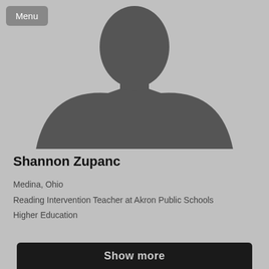[Figure (photo): Silhouette placeholder profile photo of a person, gray background with dark gray bust silhouette]
Shannon Zupanc
Medina, Ohio
Reading Intervention Teacher at Akron Public Schools
Higher Education
Show more